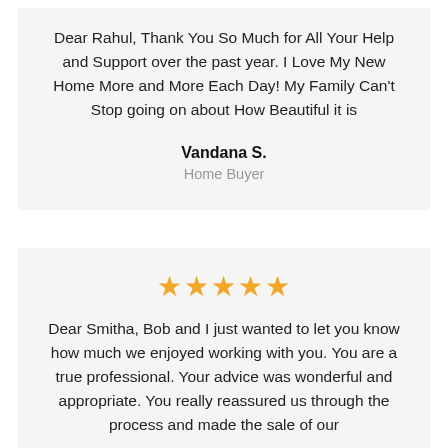Dear Rahul, Thank You So Much for All Your Help and Support over the past year. I Love My New Home More and More Each Day! My Family Can't Stop going on about How Beautiful it is
Vandana S.
Home Buyer
[Figure (other): Five orange star rating icons]
Dear Smitha, Bob and I just wanted to let you know how much we enjoyed working with you. You are a true professional. Your advice was wonderful and appropriate. You really reassured us through the process and made the sale of our